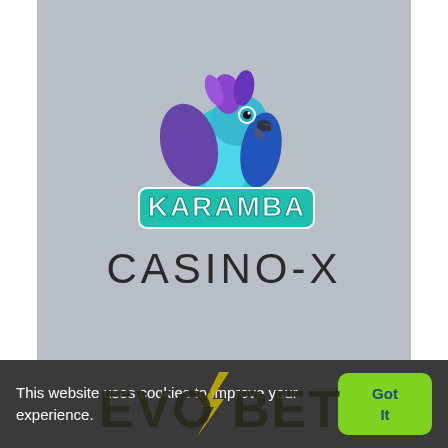[Figure (logo): Karamba casino logo with animated parrot (blue and purple macaw) perched above teal 'KARAMBA' lettering]
CASINO-X
[Figure (logo): Evobet logo with lightning bolt slash through letters, dark olive/black text, partially visible behind cookie consent bar]
This website uses cookies to improve your experience.
Got It